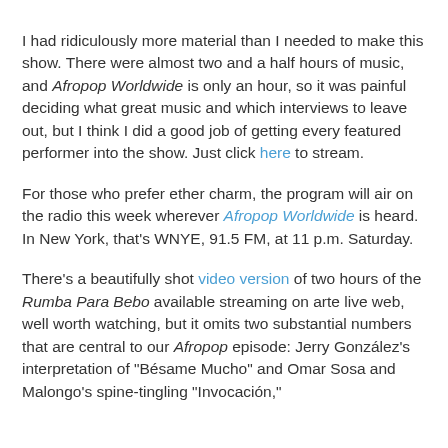I had ridiculously more material than I needed to make this show. There were almost two and a half hours of music, and Afropop Worldwide is only an hour, so it was painful deciding what great music and which interviews to leave out, but I think I did a good job of getting every featured performer into the show. Just click here to stream.
For those who prefer ether charm, the program will air on the radio this week wherever Afropop Worldwide is heard. In New York, that's WNYE, 91.5 FM, at 11 p.m. Saturday.
There's a beautifully shot video version of two hours of the Rumba Para Bebo available streaming on arte live web, well worth watching, but it omits two substantial numbers that are central to our Afropop episode: Jerry González's interpretation of "Bésame Mucho" and Omar Sosa and Malongo's spine-tingling "Invocación,"